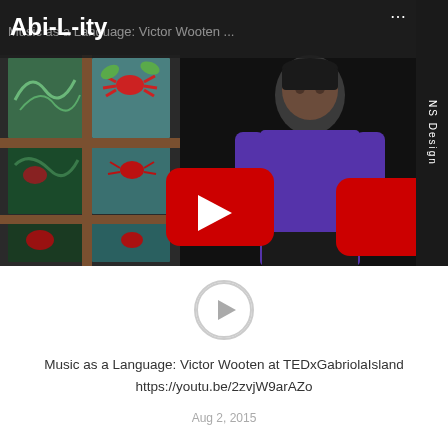Abi-L-ity
[Figure (screenshot): YouTube video thumbnail showing a man in a purple long-sleeve shirt on a TED talk stage with colorful art panels in the background. A red YouTube play button overlay is centered on the image. The video title 'Music as a Language: Victor Wooten...' appears in the dark title bar at the top. NS Design label on the right sidebar.]
[Figure (screenshot): Gray circular play button icon on white background below the video thumbnail]
Music as a Language: Victor Wooten at TEDxGabriolaIsland https://youtu.be/2zvjW9arAZo
Aug 2, 2015